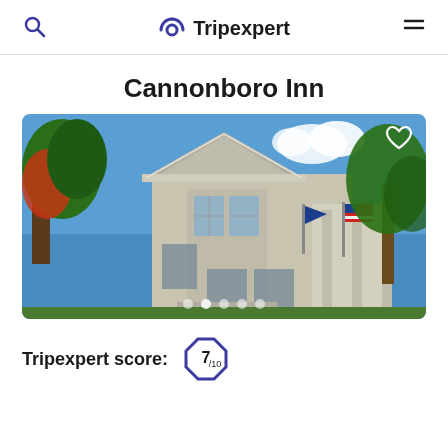Tripexpert
Cannonboro Inn
[Figure (photo): Exterior photo of Cannonboro Inn, a multi-story historic inn building with bay windows, white/grey siding, flags on the porch, surrounded by green trees and red flowering bushes under blue sky]
Tripexpert score: